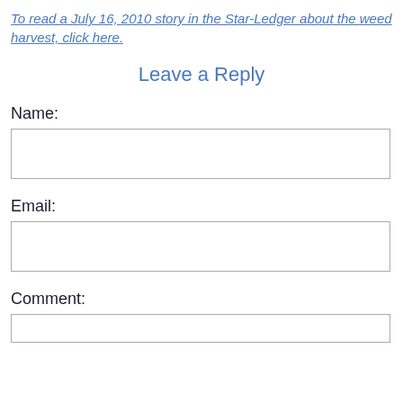To read a July 16, 2010 story in the Star-Ledger about the weed harvest, click here.
Leave a Reply
Name:
Email:
Comment: